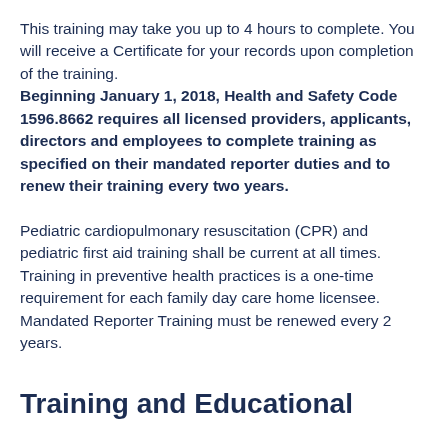This training may take you up to 4 hours to complete. You will receive a Certificate for your records upon completion of the training. Beginning January 1, 2018, Health and Safety Code 1596.8662 requires all licensed providers, applicants, directors and employees to complete training as specified on their mandated reporter duties and to renew their training every two years.
Pediatric cardiopulmonary resuscitation (CPR) and pediatric first aid training shall be current at all times. Training in preventive health practices is a one-time requirement for each family day care home licensee. Mandated Reporter Training must be renewed every 2 years.
Training and Educational